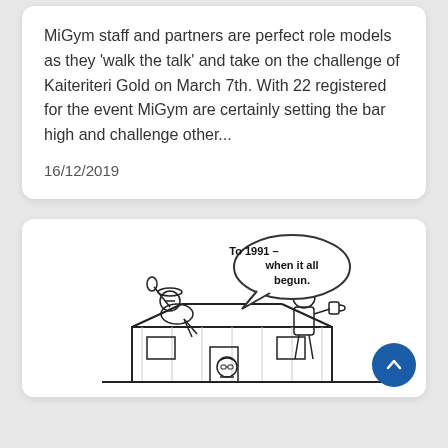MiGym staff and partners are perfect role models as they 'walk the talk' and take on the challenge of Kaiteriteri Gold on March 7th. With 22 registered for the event MiGym are certainly setting the bar high and challenge other...
16/12/2019
[Figure (illustration): Black and white cartoon illustration of people on top of a small building/house, holding drinks. A speech bubble reads 'To 1991 – when it all begun.' One person wears sunglasses below.]